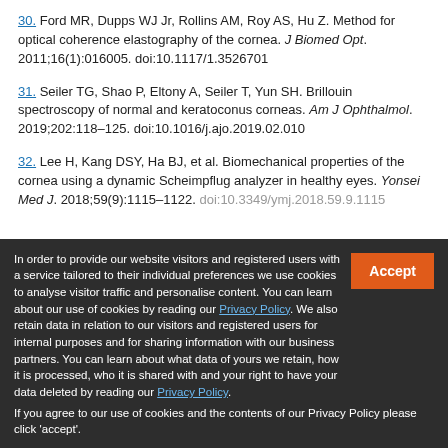30. Ford MR, Dupps WJ Jr, Rollins AM, Roy AS, Hu Z. Method for optical coherence elastography of the cornea. J Biomed Opt. 2011;16(1):016005. doi:10.1117/1.3526701
31. Seiler TG, Shao P, Eltony A, Seiler T, Yun SH. Brillouin spectroscopy of normal and keratoconus corneas. Am J Ophthalmol. 2019;202:118–125. doi:10.1016/j.ajo.2019.02.010
32. Lee H, Kang DSY, Ha BJ, et al. Biomechanical properties of the cornea using a dynamic Scheimpflug analyzer in healthy eyes. Yonsei Med J. 2018;59(9):1115–1122. doi:10.3349/ymj.2018.59.9.1115
In order to provide our website visitors and registered users with a service tailored to their individual preferences we use cookies to analyse visitor traffic and personalise content. You can learn about our use of cookies by reading our Privacy Policy. We also retain data in relation to our visitors and registered users for internal purposes and for sharing information with our business partners. You can learn about what data of yours we retain, how it is processed, who it is shared with and your right to have your data deleted by reading our Privacy Policy.
If you agree to our use of cookies and the contents of our Privacy Policy please click 'accept'.